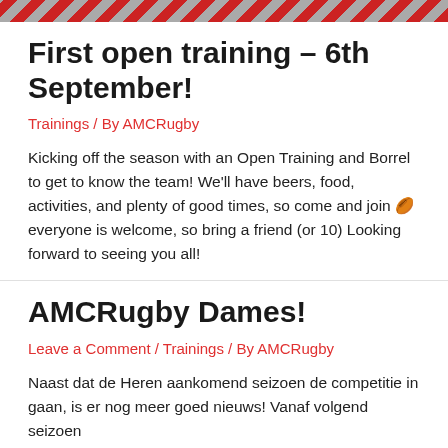[Figure (other): Diagonal red and grey striped banner/bar at top of page]
First open training – 6th September!
Trainings / By AMCRugby
Kicking off the season with an Open Training and Borrel to get to know the team! We'll have beers, food, activities, and plenty of good times, so come and join 🏉 everyone is welcome, so bring a friend (or 10) Looking forward to seeing you all!
AMCRugby Dames!
Leave a Comment / Trainings / By AMCRugby
Naast dat de Heren aankomend seizoen de competitie in gaan, is er nog meer goed nieuws! Vanaf volgend seizoen